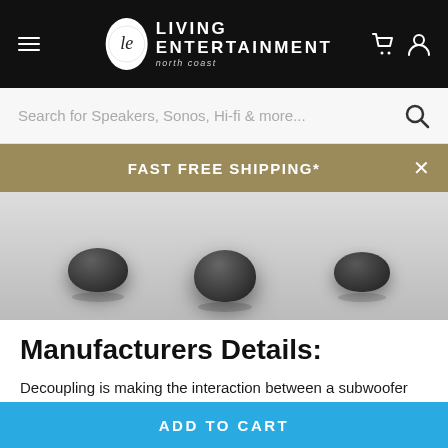Living Entertainment - north coast
Search for Speakers, Sonos, Hi-fi & more...
FAST FREE SHIPPING*
[Figure (photo): Close-up photo of three black cylindrical subwoofer isolation feet/decouplers resting on a gray reflective surface, viewed from above at slight angle]
Manufacturers Details:
Decoupling is making the interaction between a subwoofer and floor so weak that virtually no energy is transferred between them. The SVS SoundPath Subwoofer Isolation System features
ADD TO CART